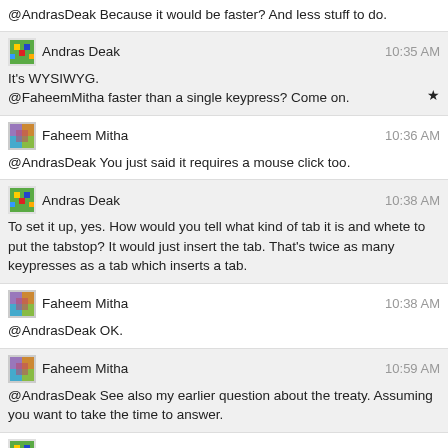@AndrasDeak Because it would be faster? And less stuff to do.
Andras Deak 10:35 AM
It's WYSIWYG.
@FaheemMitha faster than a single keypress? Come on.
Faheem Mitha 10:36 AM
@AndrasDeak You just said it requires a mouse click too.
Andras Deak 10:38 AM
To set it up, yes. How would you tell what kind of tab it is and whete to put the tabstop? It would just insert the tab. That's twice as many keypresses as a tab which inserts a tab.
Faheem Mitha 10:38 AM
@AndrasDeak OK.
Faheem Mitha 10:59 AM
@AndrasDeak See also my earlier question about the treaty. Assuming you want to take the time to answer.
Andras Deak 11:03 AM
I saw your question. I try to ignore the apocalypse so I don't pay attention
Faheem Mitha 11:10 AM
@AndrasDeak I suspect the apocalypse will not ignore you. So you were not aware, then?